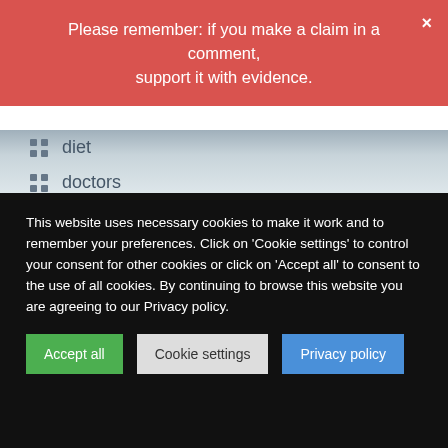Please remember: if you make a claim in a comment, support it with evidence.
diet
doctors
EBM
economic evaluation
eczema
education
Ernst's law
essential oil
evidence
This website uses necessary cookies to make it work and to remember your preferences. Click on 'Cookie settings' to control your consent for other cookies or click on 'Accept all' to consent to the use of all cookies. By continuing to browse this website you are agreeing to our Privacy policy.
Accept all | Cookie settings | Privacy policy